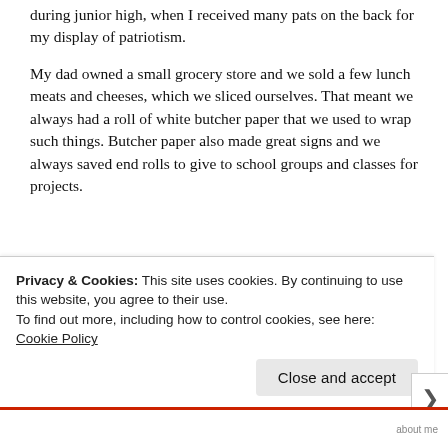during junior high, when I received many pats on the back for my display of patriotism.
My dad owned a small grocery store and we sold a few lunch meats and cheeses, which we sliced ourselves. That meant we always had a roll of white butcher paper that we used to wrap such things. Butcher paper also made great signs and we always saved end rolls to give to school groups and classes for projects.
[Figure (illustration): Large bold red text showing 'USA' partially visible, displayed in a thick block serif/slab font style]
Privacy & Cookies: This site uses cookies. By continuing to use this website, you agree to their use.
To find out more, including how to control cookies, see here: Cookie Policy
Close and accept